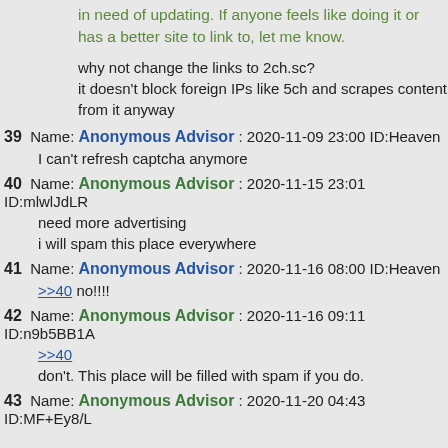in need of updating. If anyone feels like doing it or has a better site to link to, let me know.
why not change the links to 2ch.sc?
it doesn't block foreign IPs like 5ch and scrapes content from it anyway
39 Name: Anonymous Advisor : 2020-11-09 23:00 ID:Heaven
I can't refresh captcha anymore
40 Name: Anonymous Advisor : 2020-11-15 23:01 ID:mlwlJdLR
need more advertising
i will spam this place everywhere
41 Name: Anonymous Advisor : 2020-11-16 08:00 ID:Heaven
>>40 no!!!!
42 Name: Anonymous Advisor : 2020-11-16 09:11 ID:n9b5BB1A
>>40
don't. This place will be filled with spam if you do.
43 Name: Anonymous Advisor : 2020-11-20 04:43 ID:MF+Ey8/L